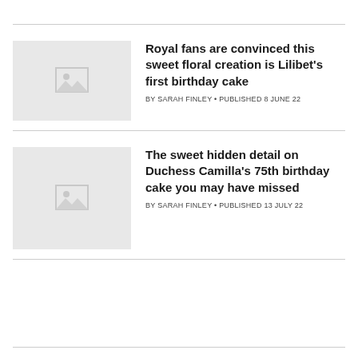[Figure (other): Placeholder thumbnail image for first article]
Royal fans are convinced this sweet floral creation is Lilibet's first birthday cake
BY SARAH FINLEY • PUBLISHED 8 JUNE 22
[Figure (other): Placeholder thumbnail image for second article]
The sweet hidden detail on Duchess Camilla's 75th birthday cake you may have missed
BY SARAH FINLEY • PUBLISHED 13 JULY 22